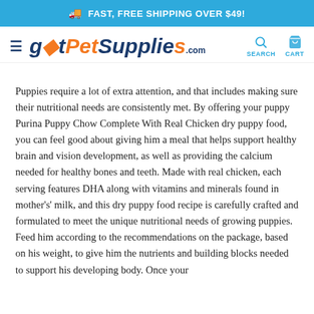🚚  FAST, FREE SHIPPING OVER $49!
[Figure (logo): gotPetSupplies.com logo with hamburger menu, search and cart icons]
Puppies require a lot of extra attention, and that includes making sure their nutritional needs are consistently met. By offering your puppy Purina Puppy Chow Complete With Real Chicken dry puppy food, you can feel good about giving him a meal that helps support healthy brain and vision development, as well as providing the calcium needed for healthy bones and teeth. Made with real chicken, each serving features DHA along with vitamins and minerals found in mother's' milk, and this dry puppy food recipe is carefully crafted and formulated to meet the unique nutritional needs of growing puppies. Feed him according to the recommendations on the package, based on his weight, to give him the nutrients and building blocks needed to support his developing body. Once your